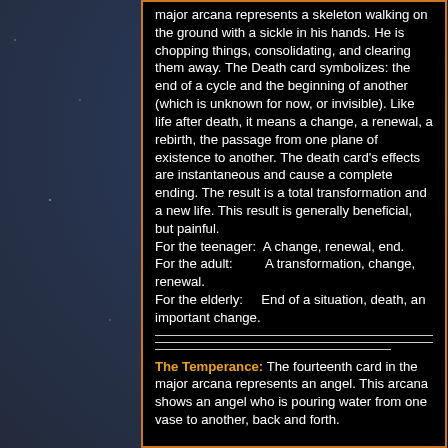major arcana represents a skeleton walking on the ground with a sickle in his hands. He is chopping things, consolidating, and clearing them away. The Death card symbolizes: the end of a cycle and the beginning of another (which is unknown for now, or invisible). Like life after death, it means a change, a renewal, a rebirth, the passage from one plane of existence to another. The death card's effects are instantaneous and cause a complete ending. The result is a total transformation and a new life. This result is generally beneficial, but painful. For the teenager:  A change, renewal, end.
For the adult:        A transformation, change, renewal.
For the elderly:     End of a situation, death, an important change.
The Temperance: The fourteenth card in the major arcana represents an angel. This arcana shows an angel who is pouring water from one vase to another, back and forth.